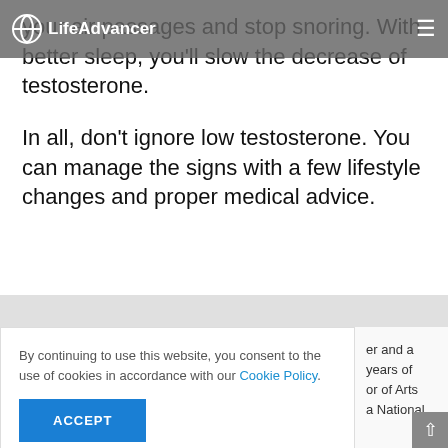LifeAdvancer
your air passages and stop snoring. With better sleep, you'll slow the decrease of testosterone.
In all, don't ignore low testosterone. You can manage the signs with a few lifestyle changes and proper medical advice.
By continuing to use this website, you consent to the use of cookies in accordance with our Cookie Policy.
ACCEPT
er and a years of or of Arts a National